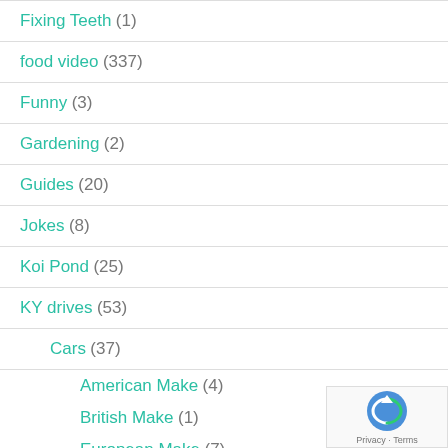Fixing Teeth (1)
food video (337)
Funny (3)
Gardening (2)
Guides (20)
Jokes (8)
Koi Pond (25)
KY drives (53)
Cars (37)
American Make (4)
British Make (1)
European Make (7)
Japanese Make (6)